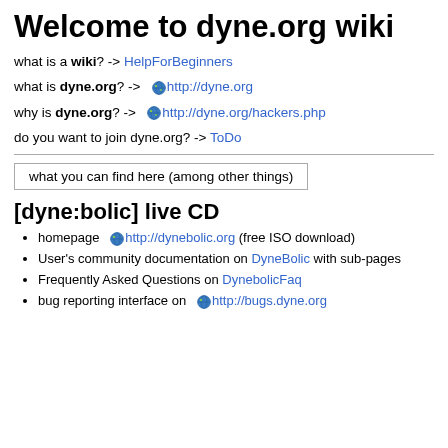Welcome to dyne.org wiki
what is a wiki? -> HelpForBeginners
what is dyne.org? -> http://dyne.org
why is dyne.org? -> http://dyne.org/hackers.php
do you want to join dyne.org? -> ToDo
what you can find here (among other things)
[dyne:bolic] live CD
homepage http://dynebolic.org (free ISO download)
User's community documentation on DyneBolic with sub-pages
Frequently Asked Questions on DynebolicFaq
bug reporting interface on http://bugs.dyne.org